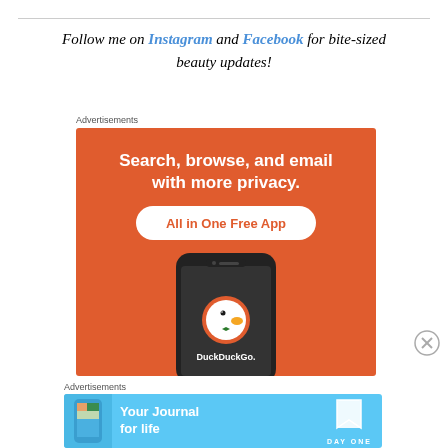Follow me on Instagram and Facebook for bite-sized beauty updates!
Advertisements
[Figure (screenshot): DuckDuckGo advertisement: orange background with text 'Search, browse, and email with more privacy. All in One Free App' and a phone showing DuckDuckGo logo]
Advertisements
[Figure (screenshot): DayOne app advertisement: blue background with text 'Your Journal for life' and DayOne logo]